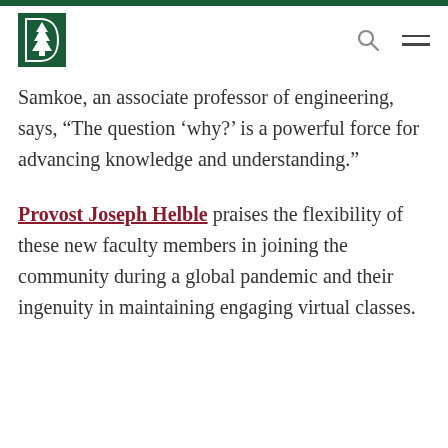Dartmouth College header with logo, search icon, and menu icon
Samkoe, an associate professor of engineering, says, “The question ‘why?’ is a powerful force for advancing knowledge and understanding.”
Provost Joseph Helble praises the flexibility of these new faculty members in joining the community during a global pandemic and their ingenuity in maintaining engaging virtual classes.